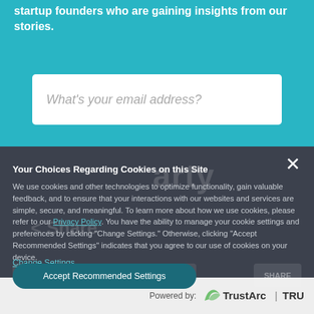startup founders who are gaining insights from our stories.
[Figure (screenshot): Email input field with placeholder text 'What's your email address?' on teal background]
Your Choices Regarding Cookies on this Site
We use cookies and other technologies to optimize functionality, gain valuable feedback, and to ensure that your interactions with our websites and services are simple, secure, and meaningful. To learn more about how we use cookies, please refer to our Privacy Policy. You have the ability to manage your cookie settings and preferences by clicking "Change Settings." Otherwise, clicking "Accept Recommended Settings" indicates that you agree to our use of cookies on your device.
Change Settings
Accept Recommended Settings
Powered by: TrustArc | TRUSTe